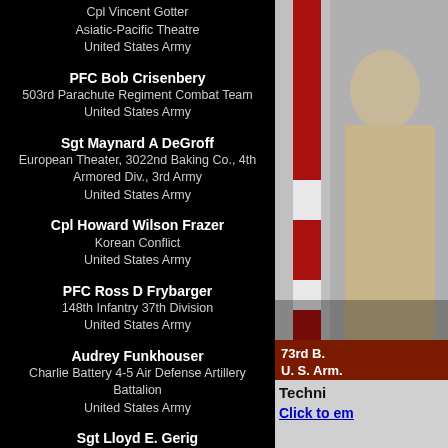Cpl Vincent Gotter
Asiatic-Pacific Theatre
United States Army
PFC Bob Crisenbery
503rd Parachute Regiment Combat Team
United States Army
Sgt Maynard A DeGroff
European Theater, 3022nd Baking Co., 4th Armored Div., 3rd Army
United States Army
Cpl Howard Wilson Frazer
Korean Conflict
United States Army
PFC Ross D Frybarger
148th Infantry 37th Division
United States Army
Audrey Funkhouser
Charlie Battery 4-5 Air Defense Artillery Battalion
United States Army
Sgt Lloyd E. Gerig
World War II
United States Army
[Figure (photo): Photo of a military veteran in uniform with an American flag background, overlaid with text '73rd B.' and 'U. S. Arm']
Techni
Click to em